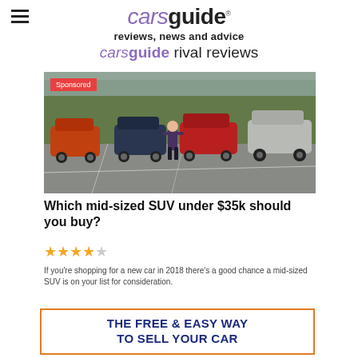carsguide reviews, news and advice carsguide rival reviews
[Figure (photo): A man standing in a parking lot in front of four mid-sized SUVs parked side by side, with trees in the background. A red 'Sponsored' badge appears in the top-left corner of the image.]
Which mid-sized SUV under $35k should you buy?
★★★★☆
If you're shopping for a new car in 2018 there's a good chance a mid-sized SUV is on your list for consideration.
THE FREE & EASY WAY TO SELL YOUR CAR